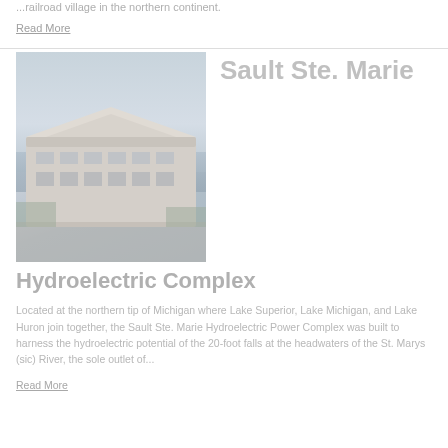...railroad village in the northern continent.
Read More
[Figure (photo): Aerial or elevated view of a large waterfront building complex, likely a hotel or conference center near water, with cloudy sky background.]
Sault Ste. Marie
Hydroelectric Complex
Located at the northern tip of Michigan where Lake Superior, Lake Michigan, and Lake Huron join together, the Sault Ste. Marie Hydroelectric Power Complex was built to harness the hydroelectric potential of the 20-foot falls at the headwaters of the St. Marys (sic) River, the sole outlet of...
Read More